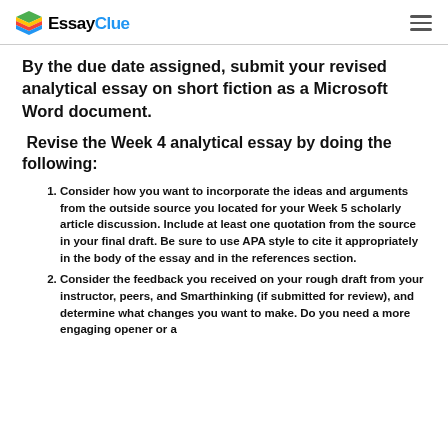EssayClue
By the due date assigned, submit your revised analytical essay on short fiction as a Microsoft Word document.
Revise the Week 4 analytical essay by doing the following:
Consider how you want to incorporate the ideas and arguments from the outside source you located for your Week 5 scholarly article discussion. Include at least one quotation from the source in your final draft. Be sure to use APA style to cite it appropriately in the body of the essay and in the references section.
Consider the feedback you received on your rough draft from your instructor, peers, and Smarthinking (if submitted for review), and determine what changes you want to make. Do you need a more engaging opener or a